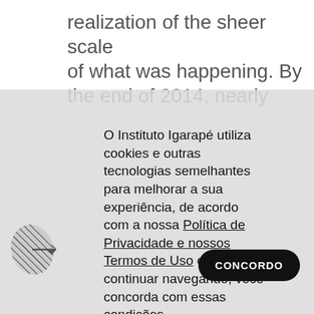realization of the sheer scale of what was happening. By the end of 2014, nearly
[Figure (logo): Igarape Institute logo — a stylized leaf/bird shape made of diagonal hatching lines with an arrow pointing right]
O Instituto Igarapé utiliza cookies e outras tecnologias semelhantes para melhorar a sua experiência, de acordo com a nossa Política de Privacidade e nossos Termos de Uso e, ao continuar navegando, você concorda com essas condições.
CONCORDO